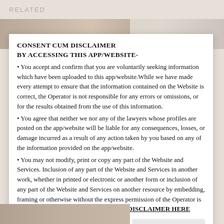RELATED
CONSENT CUM DISCLAIMER
BY ACCESSING THIS APP/WEBSITE-
• You accept and confirm that you are voluntarily seeking information which have been uploaded to this app/website.While we have made every attempt to ensure that the information contained on the Website is correct, the Operator is not responsible for any errors or omissions, or for the results obtained from the use of this information.
• You agree that neither we nor any of the lawyers whose profiles are posted on the app/website will be liable for any consequences, losses, or damage incurred as a result of any action taken by you based on any of the information provided on the app/website.
• You may not modify, print or copy any part of the Website and Services. Inclusion of any part of the Website and Services in another work, whether in printed or electronic or another form or inclusion of any part of the Website and Services on another resource by embedding, framing or otherwise without the express permission of the Operator is prohibited. PLEASE READ THE FULL DISCLAIMER HERE